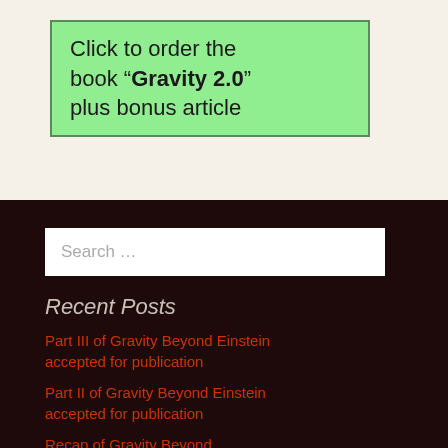Click to order the book “Gravity 2.0” plus bonus article
Search …
Recent Posts
Part III of Gravity Beyond Einstein accepted for publication
Part II of Gravity Beyond Einstein accepted for publication
Recap of Gravity Beyond